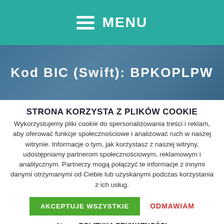MENU
Kod BIC (Swift): BPKOPLPW
STRONA KORZYSTA Z PLIKÓW COOKIE
Wykorzystujemy pliki cookie do spersonalizowania treści i reklam, aby oferować funkcje społecznościowe i analizować ruch w naszej witrynie. Informacje o tym, jak korzystasz z naszej witryny, udostępniamy partnerom społecznościowym, reklamowym i analitycznym. Partnerzy mogą połączyć te informacje z innymi danymi otrzymanymi od Ciebie lub uzyskanymi podczas korzystania z ich usług.
AKCEPTUJE WSZYSTKIE
ODMAWIAM
Nasza POLITYKA PRYWATNOŚCI